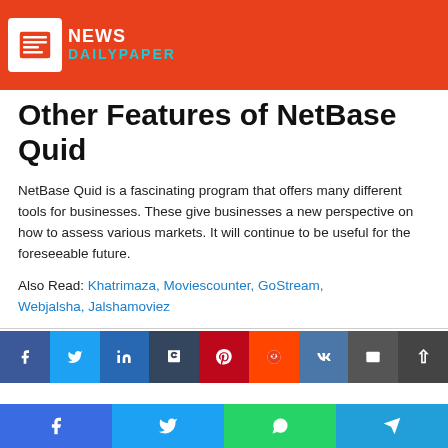NEWS DAILYPAPER
Other Features of NetBase Quid
NetBase Quid is a fascinating program that offers many different tools for businesses. These give businesses a new perspective on how to assess various markets. It will continue to be useful for the foreseeable future.
Also Read: Khatrimaza, Moviescounter, GoStream, Webjalsha, Jalshamoviez